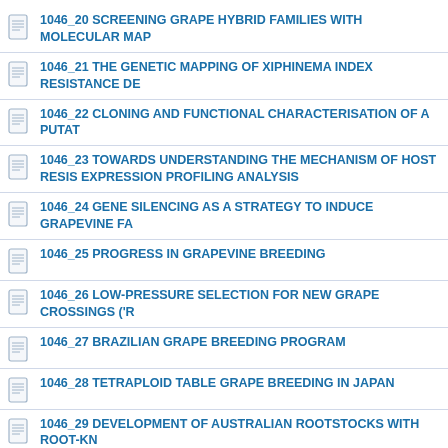1046_20 SCREENING GRAPE HYBRID FAMILIES WITH MOLECULAR MAP
1046_21 THE GENETIC MAPPING OF XIPHINEMA INDEX RESISTANCE DE
1046_22 CLONING AND FUNCTIONAL CHARACTERISATION OF A PUTAT
1046_23 TOWARDS UNDERSTANDING THE MECHANISM OF HOST RESIS EXPRESSION PROFILING ANALYSIS
1046_24 GENE SILENCING AS A STRATEGY TO INDUCE GRAPEVINE FA
1046_25 PROGRESS IN GRAPEVINE BREEDING
1046_26 LOW-PRESSURE SELECTION FOR NEW GRAPE CROSSINGS ('R
1046_27 BRAZILIAN GRAPE BREEDING PROGRAM
1046_28 TETRAPLOID TABLE GRAPE BREEDING IN JAPAN
1046_29 DEVELOPMENT OF AUSTRALIAN ROOTSTOCKS WITH ROOT-KN
1046_30 INTRODUCTION, BREEDING AND PRODUCTION OF WINEGRAPE